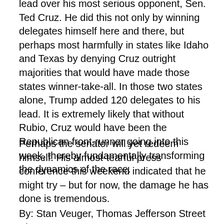lead over his most serious opponent, Sen. Ted Cruz. He did this not only by winning delegates himself here and there, but perhaps most harmfully in states like Idaho and Texas by denying Cruz outright majorities that would have made those states winner-take-all. In those two states alone, Trump added 120 delegates to his lead. It is extremely likely that without Rubio, Cruz would have been the Republican front-runner going into this week, thereby fundamentally transforming the dynamics of the race.
Perhaps the senator will yet redeem himself. His almost-tearful press conference this weekend indicated that he might try – but for now, the damage he has done is tremendous.
By: Stan Veuger, Thomas Jefferson Street Blog, U. S.